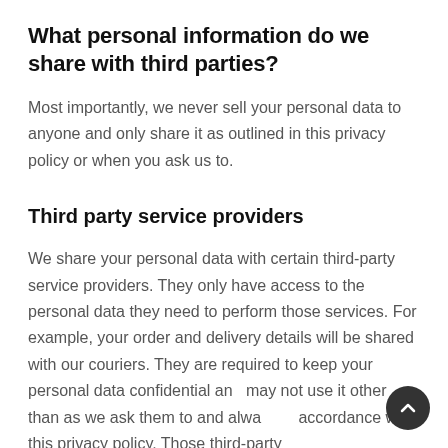What personal information do we share with third parties?
Most importantly, we never sell your personal data to anyone and only share it as outlined in this privacy policy or when you ask us to.
Third party service providers
We share your personal data with certain third-party service providers. They only have access to the personal data they need to perform those services. For example, your order and delivery details will be shared with our couriers. They are required to keep your personal data confidential and may not use it other than as we ask them to and always in accordance with this privacy policy. Those third-party